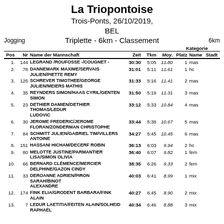La Triopontoise
Trois-Ponts, 26/10/2019, BEL
Jogging    Triplette - 6km - Classement    6km
| Pos | Nr | Name der Mannschaft | Zeit | Tkm | Moy. | Platz | Name | Stadt |
| --- | --- | --- | --- | --- | --- | --- | --- | --- |
| 1. | 144 | LEGRAND /ROUFOSSE -/COUGNET - | 30:30 | 5:05 | 11.80 | 1 | mas |  |
| 2. | 78 | DANNEMARK MAXIME/SERVAIS JULIEN/PIETTE REMY | 31:01 | 5:11 | 11.61 | 1 | hc |  |
| 3. | 125 | SCHREVER TIMOTHEE/GEORGE JULIEN/MEIERS MATHIS | 31:33 | 5:16 | 11.41 | 2 | mas |  |
| 4. | 35 | REYNDERS SIMON/HAAS CYRIL/GENTEN SIMON | 31:50 | 5:19 | 11.31 | 3 | mas |  |
| 5. | 23 | DETHIER DAMIEN/DETHIER THOMAS/LEDUR LUDOVIC | 33:12 | 5:33 | 10.84 | 4 | mas |  |
| 6. | 30 | JEROME FREDERIC/JEROME FLORAN/ZONDERMAN CHRISTOPHE | 33:44 | 5:38 | 10.67 | 5 | mas |  |
| 7. | 84 | SCHMITT JULIEN/GABRIEL TIM/VILLERS ANTOINE | 34:27 | 5:45 | 10.45 | 6 | mas |  |
| 8. | 151 | HASSANI HICHAM/DECERF ROBIN | 36:13 | 6:03 | 9.94 | 2 | hc |  |
| 9. | 80 | MELOTTE JUSTINE/PARMANTIER LISA/SIMON OLIVIA | 36:40 | 6:07 | 9.82 | 1 | fem |  |
| 10. | 66 | BERNARD CLÉMENCE/MERCIER DELPHINE/GAZON CINDY | 38:35 | 6:26 | 9.33 | 2 | fem |  |
| 11. | 33 | DEROANNE ADRIEN/PIRON SARAH/BINOT ALEXANDRE | 40:03 | 6:41 | 8.99 | 1 | mix |  |
| 12. | 174 | FINK ELIA/GRODENT BARBARA/FINK ALAIN | 40:27 | 6:45 | 8.90 | 2 | mix |  |
| 13. | 7 | LEDUR LAETITIA/FEITEN ALAIN/SOLHEID RAPHAÉL | 40:34 | 6:46 | 8.88 | 3 | mix |  |